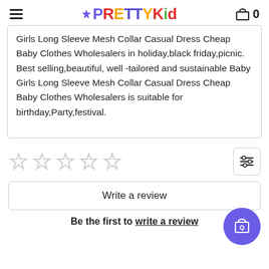PrettyKid
Girls Long Sleeve Mesh Collar Casual Dress Cheap Baby Clothes Wholesalers in holiday,black friday,picnic. Best selling,beautiful, well -tailored and sustainable Baby Girls Long Sleeve Mesh Collar Casual Dress Cheap Baby Clothes Wholesalers is suitable for birthday,Party,festival.
Write a review
Be the first to write a review